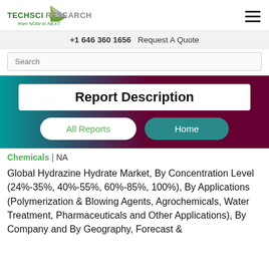[Figure (logo): TechSci Research logo with green and grey arrow graphic and tagline 'from NOW to NEXT']
+1 646 360 1656  Request A Quote
Search
Report Description
All Reports
Home
Chemicals | NA
Global Hydrazine Hydrate Market, By Concentration Level (24%-35%, 40%-55%, 60%-85%, 100%), By Applications (Polymerization & Blowing Agents, Agrochemicals, Water Treatment, Pharmaceuticals and Other Applications), By Company and By Geography, Forecast &